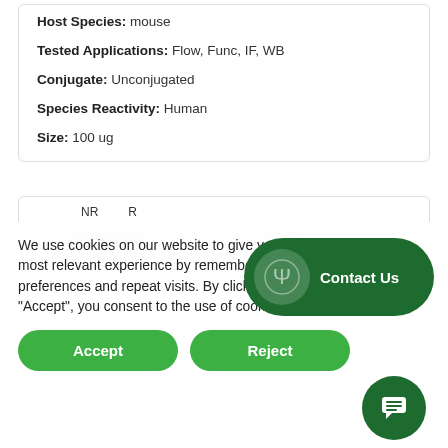Host Species: mouse
Tested Applications: Flow, Func, IF, WB
Conjugate: Unconjugated
Species Reactivity: Human
Size: 100 ug
[Figure (other): Western blot gel image showing two lanes labeled NR and R, with bands around the 250 kDa marker region]
We use cookies on our website to give you the most relevant experience by remembering your preferences and repeat visits. By clicking “Accept”, you consent to the use of cookies.
Accept
Reject
Contact Us